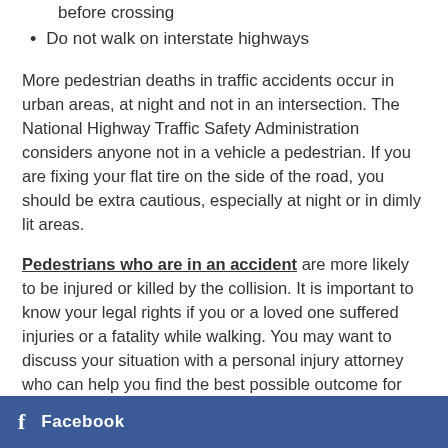before crossing
Do not walk on interstate highways
More pedestrian deaths in traffic accidents occur in urban areas, at night and not in an intersection. The National Highway Traffic Safety Administration considers anyone not in a vehicle a pedestrian. If you are fixing your flat tire on the side of the road, you should be extra cautious, especially at night or in dimly lit areas.
Pedestrians who are in an accident are more likely to be injured or killed by the collision. It is important to know your legal rights if you or a loved one suffered injuries or a fatality while walking. You may want to discuss your situation with a personal injury attorney who can help you find the best possible outcome for your case.
Facebook